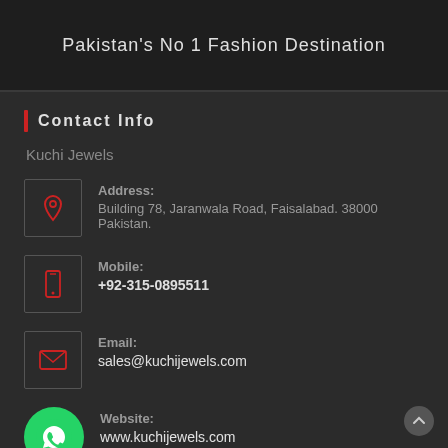Pakistan's No 1 Fashion Destination
Contact Info
Kuchi Jewels
Address: Building 78, Jaranwala Road, Faisalabad. 38000 Pakistan.
Mobile: +92-315-0895511
Email: sales@kuchijewels.com
Website: www.kuchijewels.com